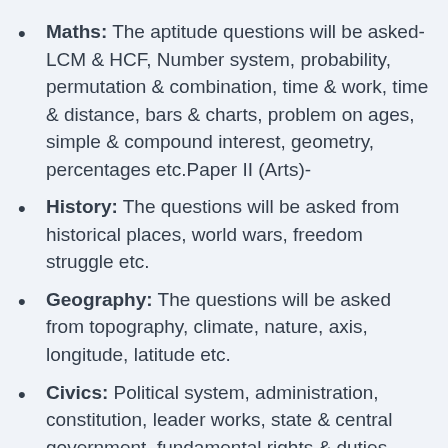Maths: The aptitude questions will be asked- LCM & HCF, Number system, probability, permutation & combination, time & work, time & distance, bars & charts, problem on ages, simple & compound interest, geometry, percentages etc.Paper II (Arts)-
History: The questions will be asked from historical places, world wars, freedom struggle etc.
Geography: The questions will be asked from topography, climate, nature, axis, longitude, latitude etc.
Civics: Political system, administration, constitution, leader works, state & central government, fundamental rights & duties
Economics: Scope, nature, micro economics, role of agriculture, industry & services